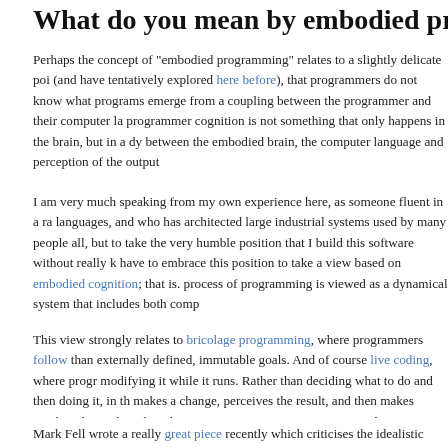What do you mean by embodied programm...
Perhaps the concept of "embodied programming" relates to a slightly delicate poi (and have tentatively explored here before), that programmers do not know what programs emerge from a coupling between the programmer and their computer la programmer cognition is not something that only happens in the brain, but in a dy between the embodied brain, the computer language and perception of the output
I am very much speaking from my own experience here, as someone fluent in a ra languages, and who has architected large industrial systems used by many people all, but to take the very humble position that I build this software without really k have to embrace this position to take a view based on embodied cognition; that is. process of programming is viewed as a dynamical system that includes both comp
This view strongly relates to bricolage programming, where programmers follow than externally defined, immutable goals. And of course live coding, where progr modifying it while it runs. Rather than deciding what to do and then doing it, in th makes a change, perceives the result, and then makes another change based on tha programmer is not trying to manipulate a program to meet their own internal mod heuristics to modify an external system based on their experience of it at that mor
Mark Fell wrote a really great piece recently which criticises the idealistic goal of which "converts imagined sound, as accurately as possible, into a tangible for...